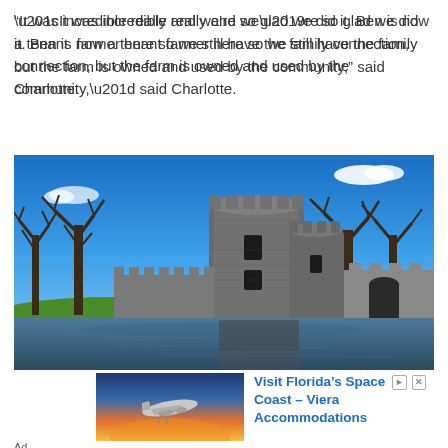“It was incredible really and we’re so glad we did it. Ben is now a tenant farmer here so we still have the family connection, but the farm is owned and used by the community,” said Charlotte.
[Figure (photo): Photograph of a medieval castle with a large cylindrical tower and battlements, reflected in a moat, surrounded by bare winter trees under a bright blue sky with a few white clouds.]
[Figure (photo): Advertisement image showing an airplane flying against a colorful sunset sky, with text 'Visit Florida’s Space Coast - Viera Accommodations']
Ad